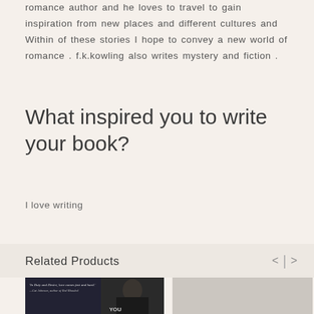romance author and he loves to travel to gain inspiration from new places and different cultures and Within of these stories I hope to convey a new world of romance . f.k.kowling also writes mystery and fiction .
What inspired you to write your book?
I love writing
Related Products
[Figure (photo): Book cover showing a dark-toned image of a man with a quote overlay on the left side and a dark background figure on the right]
[Figure (photo): Light beige/cream colored book cover placeholder]